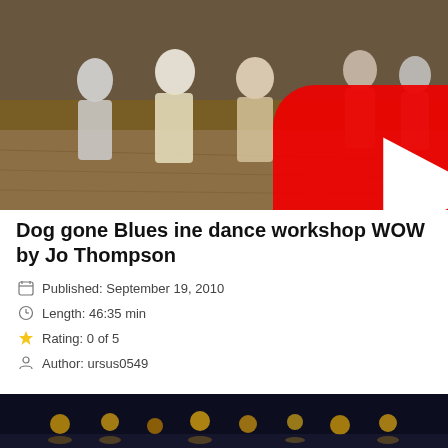[Figure (screenshot): Video thumbnail showing people dancing in a studio/gym with wooden floors, with a YouTube red play button overlay in the center.]
Dog gone Blues ine dance workshop WOW by Jo Thompson
Published: September 19, 2010
Length: 46:35 min
Rating: 0 of 5
Author: ursus0549
[Figure (screenshot): Partial video thumbnail showing a dark scene with yellow stage/street lights reflected on a surface.]